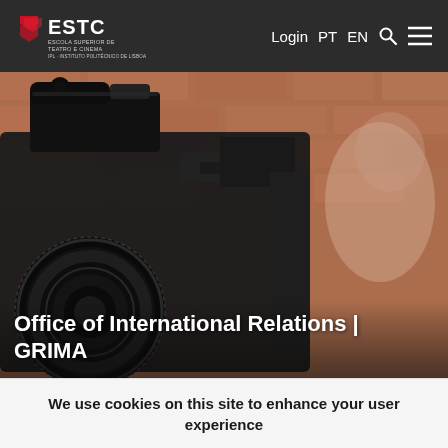Login PT EN [search icon] [menu icon]
[Figure (photo): Close-up photo of a professional video/film camera with a blurred brick wall background and a blurred person in the background. The scene is a film or theatre school setting.]
Office of International Relations | GRIMA
We use cookies on this site to enhance your user experience